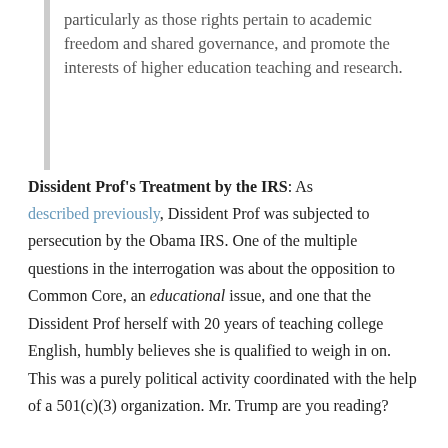particularly as those rights pertain to academic freedom and shared governance, and promote the interests of higher education teaching and research.
Dissident Prof's Treatment by the IRS: As described previously, Dissident Prof was subjected to persecution by the Obama IRS. One of the multiple questions in the interrogation was about the opposition to Common Core, an educational issue, and one that the Dissident Prof herself with 20 years of teaching college English, humbly believes she is qualified to weigh in on. This was a purely political activity coordinated with the help of a 501(c)(3) organization. Mr. Trump are you reading?